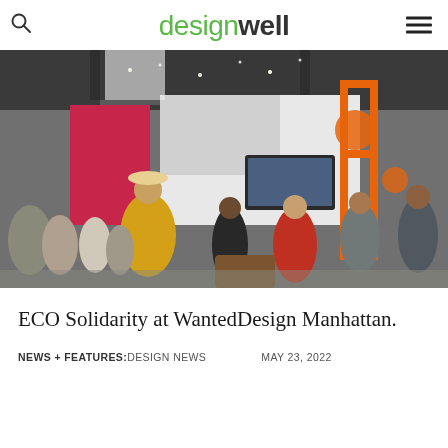designwell
[Figure (photo): Trade show or design expo floor with crowds of people browsing design exhibits. A person in a yellow jacket and hat is visible in the foreground. Colorful displays, hanging lights, and an orange metal structure are visible in the background.]
ECO Solidarity at WantedDesign Manhattan.
NEWS + FEATURES: DESIGN NEWS    MAY 23, 2022